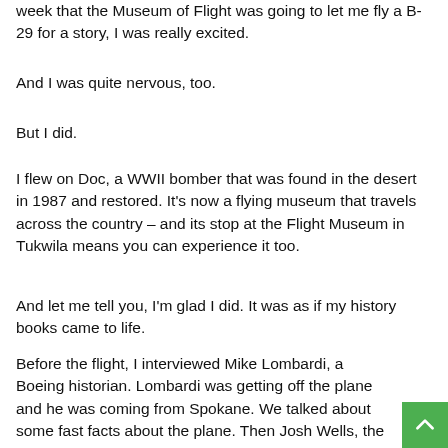week that the Museum of Flight was going to let me fly a B-29 for a story, I was really excited.
And I was quite nervous, too.
But I did.
I flew on Doc, a WWII bomber that was found in the desert in 1987 and restored. It's now a flying museum that travels across the country – and its stop at the Flight Museum in Tukwila means you can experience it too.
And let me tell you, I'm glad I did. It was as if my history books came to life.
Before the flight, I interviewed Mike Lombardi, a Boeing historian. Lombardi was getting off the plane and he was coming from Spokane. We talked about some fast facts about the plane. Then Josh Wells, the Doc manager, told us all about the plane and its history.